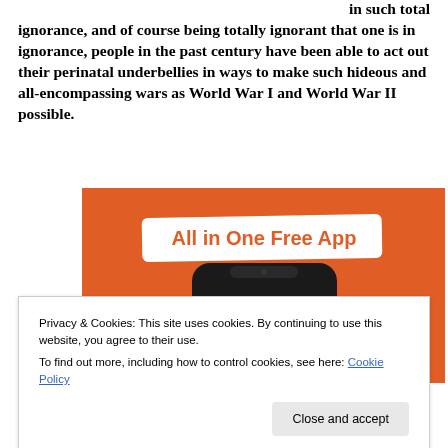in such total ignorance, and of course being totally ignorant that one is in ignorance, people in the past century have been able to act out their perinatal underbellies in ways to make such hideous and all-encompassing wars as World War I and World War II possible.
[Figure (illustration): DuckDuckGo advertisement showing a smartphone with the DuckDuckGo duck logo on an orange background with text 'All in One Free App']
Privacy & Cookies: This site uses cookies. By continuing to use this website, you agree to their use.
To find out more, including how to control cookies, see here: Cookie Policy